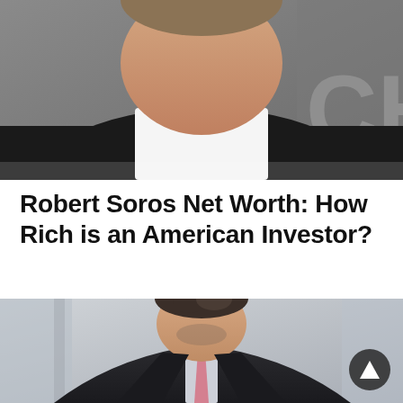[Figure (photo): Top portion of a person wearing a dark blazer and white open-collar shirt, photographed at an event with partial letters visible in background.]
Robert Soros Net Worth: How Rich is an American Investor?
[Figure (photo): Portrait of Robert Soros, a young man in a dark suit with a pink tie, photographed in an office or urban setting with blurred background.]